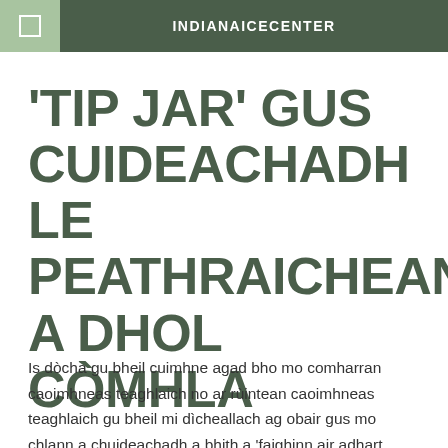INDIANAICECENTER
'TIP JAR' GUS CUIDEACHADH LE PEATHRAICHEAN A DHOL CÒMHLA
Is dòcha gu bheil cuimhne agad bho mo comharran caoimhneas teaghlaich no ar rùintean caoimhneas teaghlaich gu bheil mi dìcheallach ag obair gus mo chlann a chuideachadh a bhith a 'faighinn air adhart agus a bhith a'